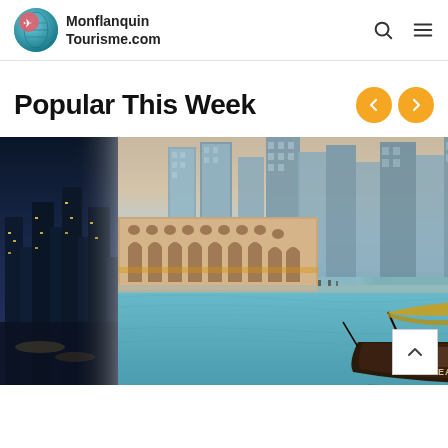Monflanquin Tourisme.com
Popular This Week
[Figure (photo): Tourism website screenshot showing a carousel of travel photos. Center image: a traditional wooden abra boat (EA217) on the water in front of Dubai Marina skyline with glass skyscrapers. Left partial image: nighttime city view. Right partial image: stone building or ruins.]